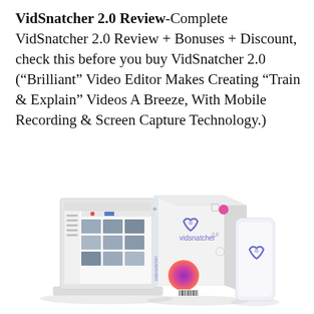VidSnatcher 2.0 Review-Complete VidSnatcher 2.0 Review + Bonuses + Discount, check this before you buy VidSnatcher 2.0 ("Brilliant" Video Editor Makes Creating "Train & Explain" Videos A Breeze, With Mobile Recording & Screen Capture Technology.)
[Figure (illustration): Product illustration showing a white laptop with VidSnatcher software interface, a white product box with VidSnatcher 2.0 branding and colorful dots/circles design, and a white mobile phone, all on a white background.]